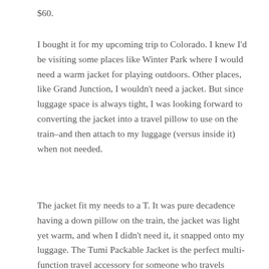$60.
I bought it for my upcoming trip to Colorado. I knew I'd be visiting some places like Winter Park where I would need a warm jacket for playing outdoors. Other places, like Grand Junction, I wouldn't need a jacket. But since luggage space is always tight, I was looking forward to converting the jacket into a travel pillow to use on the train–and then attach to my luggage (versus inside it) when not needed.
The jacket fit my needs to a T. It was pure decadence having a down pillow on the train, the jacket was light yet warm, and when I didn't need it, it snapped onto my luggage. The Tumi Packable Jacket is the perfect multi-function travel accessory for someone who travels